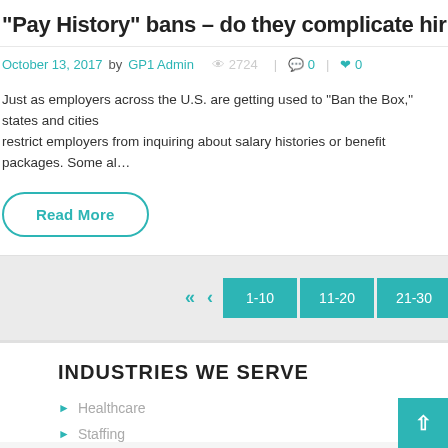“Pay History” bans – do they complicate hiring pra…
October 13, 2017 by GP1 Admin   2724 | 0 | 0
Just as employers across the U.S. are getting used to “Ban the Box,” states and cities restrict employers from inquiring about salary histories or benefit packages. Some al…
Read More
« < 1-10 11-20 21-30 31-40 41-50 51-60
INDUSTRIES WE SERVE
Healthcare
Staffing